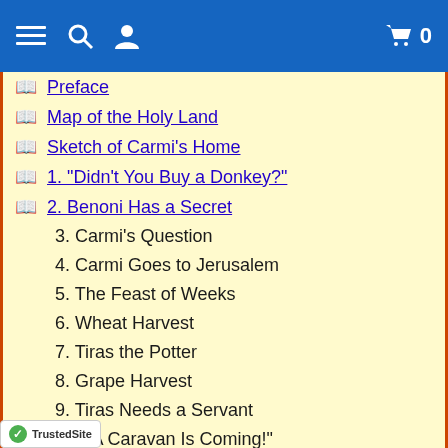Navigation header with menu, search, user, cart icons
Preface
Map of the Holy Land
Sketch of Carmi's Home
1. "Didn't You Buy a Donkey?"
2. Benoni Has a Secret
3. Carmi's Question
4. Carmi Goes to Jerusalem
5. The Feast of Weeks
6. Wheat Harvest
7. Tiras the Potter
8. Grape Harvest
9. Tiras Needs a Servant
10. "A Caravan Is Coming!"
11. Carmi Pays for the Needle
12. The Feast of Tabernacles
13. Plowing and Planting
Carmi Makes a Scrip